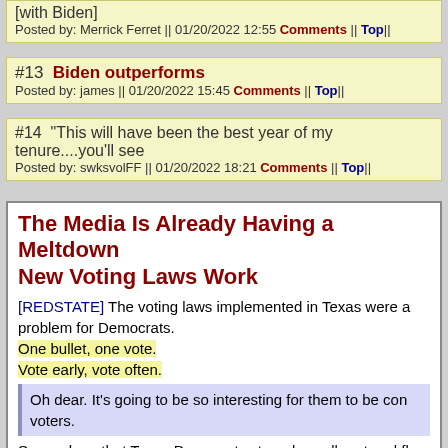[with Biden]
Posted by: Merrick Ferret || 01/20/2022 12:55 Comments || Top||
#13 Biden outperforms
Posted by: james || 01/20/2022 15:45 Comments || Top||
#14  "This will have been the best year of my tenure....you'll see
Posted by: swksvolFF || 01/20/2022 18:21 Comments || Top||
The Media Is Already Having a Meltdown New Voting Laws Work
[REDSTATE] The voting laws implemented in Texas were a problem for Democrats. One bullet, one vote. Vote early, vote often.
Oh dear. It's going to be so interesting for them to be con voters.
So much so that Texas Democrats staged a walk-out and fl D.C., where they did nothing but embarrass themselves an virus.
In fact, the entire stunt was really just a promotion for th